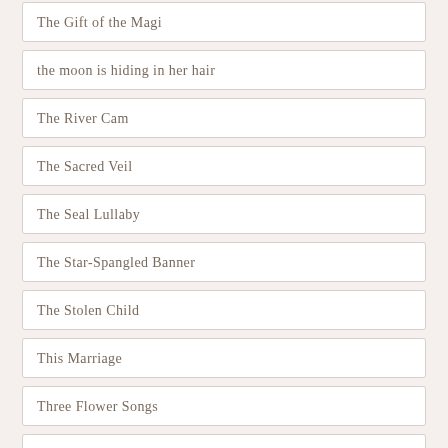The Gift of the Magi
the moon is hiding in her hair
The River Cam
The Sacred Veil
The Seal Lullaby
The Star-Spangled Banner
The Stolen Child
This Marriage
Three Flower Songs
Three Songs of Faith